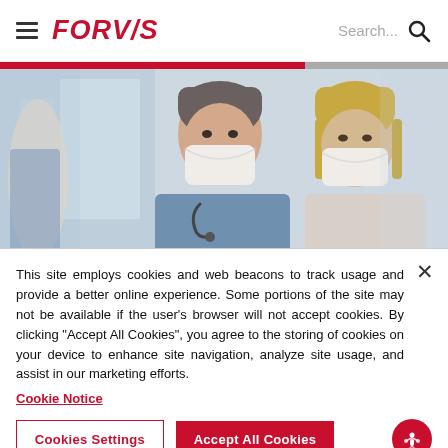FORV/S  Search...
[Figure (photo): Two healthcare professionals wearing surgical masks — a male doctor with a stethoscope and a female colleague — in a clinical setting with glass partitions in the background.]
This site employs cookies and web beacons to track usage and provide a better online experience. Some portions of the site may not be available if the user's browser will not accept cookies. By clicking “Accept All Cookies”, you agree to the storing of cookies on your device to enhance site navigation, analyze site usage, and assist in our marketing efforts.
Cookie Notice
Cookies Settings
Accept All Cookies